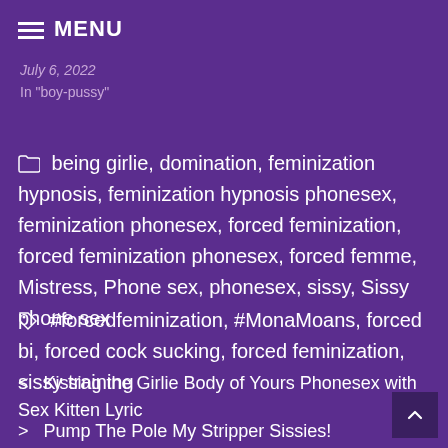≡ MENU
July 6, 2022
In "boy-pussy"
📁 being girlie, domination, feminization hypnosis, feminization hypnosis phonesex, feminization phonesex, forced feminization, forced feminization phonesex, forced femme, Mistress, Phone sex, phonesex, sissy, Sissy phone sex
🏷 #forcedfeminization, #MonaMoans, forced bi, forced cock sucking, forced feminization, sissy training
< Kissing the Girlie Body of Yours Phonesex with Sex Kitten Lyric
> Pump The Pole My Stripper Sissies! Sissy Training Phone Sex Part 1